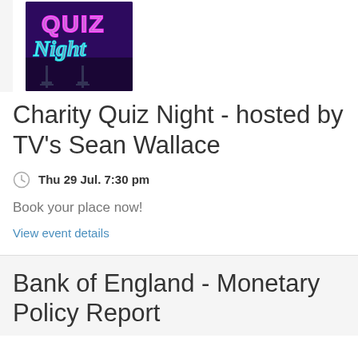[Figure (photo): Neon sign reading 'Quiz Night' with pink and cyan neon lettering on a dark purple/black background]
Charity Quiz Night - hosted by TV's Sean Wallace
Thu 29 Jul. 7:30 pm
Book your place now!
View event details
Bank of England - Monetary Policy Report